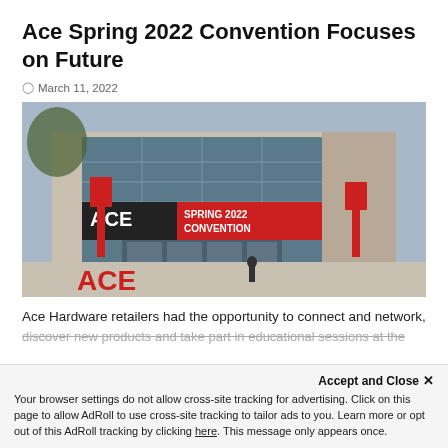Ace Spring 2022 Convention Focuses on Future
March 11, 2022
[Figure (photo): Exterior of convention center with ACE Spring 2022 Convention banner and red ACE branded flags, with large red ACE letters in foreground and a person standing outside.]
Ace Hardware retailers had the opportunity to connect and network, discover new products and take part in educational sessions at the
Accept and Close ✕
Your browser settings do not allow cross-site tracking for advertising. Click on this page to allow AdRoll to use cross-site tracking to tailor ads to you. Learn more or opt out of this AdRoll tracking by clicking here. This message only appears once.